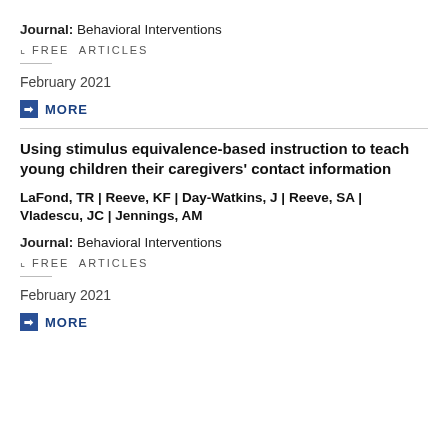Journal: Behavioral Interventions
FREE ARTICLES
February 2021
MORE
Using stimulus equivalence-based instruction to teach young children their caregivers' contact information
LaFond, TR | Reeve, KF | Day-Watkins, J | Reeve, SA | Vladescu, JC | Jennings, AM
Journal: Behavioral Interventions
FREE ARTICLES
February 2021
MORE